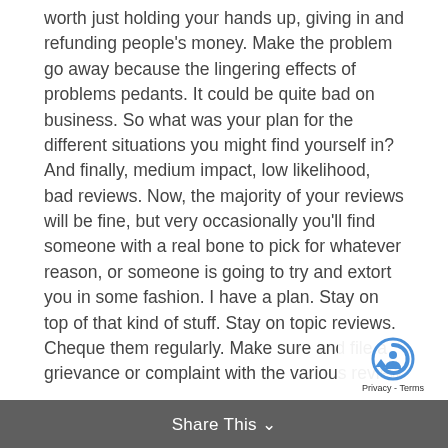worth just holding your hands up, giving in and refunding people's money. Make the problem go away because the lingering effects of problems pedants. It could be quite bad on business. So what was your plan for the different situations you might find yourself in? And finally, medium impact, low likelihood, bad reviews. Now, the majority of your reviews will be fine, but very occasionally you'll find someone with a real bone to pick for whatever reason, or someone is going to try and extort you in some fashion. I have a plan. Stay on top of that kind of stuff. Stay on topic reviews. Cheque them regularly. Make sure and file a grievance or complaint with the various review platforms if anything comes along, which you feel is unfair. What's going to impact you on Julie? And the other thing is property quality. Now you want to be aiming for the high end of the market. You want to be looking for good quality, new newly refurbished properties, thin... like that. But there are things that go wrong. They may...
Share This